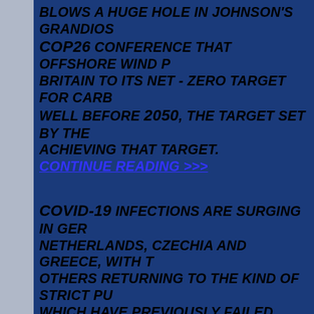blows a huge hole in Johnson's grandiose COP26 conference that offshore wind power Britain to its net - zero target for Carbon well before 2050, the target set by the achieving that target.
Continue reading >>>
COVID-19 infections are surging in Germany, Netherlands, Czechia and Greece, with others returning to the kind of strict public which have previously failed contain the virus' that only kills people who are over and have dozens of pre - existing, potentially Austria has gone so far as to enact a na